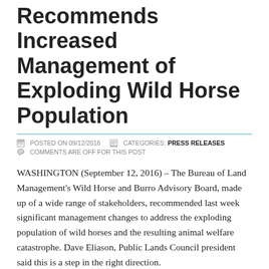Recommends Increased Management of Exploding Wild Horse Population
POSTED ON 09/12/2016   CATEGORIES: PRESS RELEASES
COMMENTS ARE OFF FOR THIS POST
WASHINGTON (September 12, 2016) – The Bureau of Land Management's Wild Horse and Burro Advisory Board, made up of a wide range of stakeholders, recommended last week significant management changes to address the exploding population of wild horses and the resulting animal welfare catastrophe. Dave Eliason, Public Lands Council president said this is a step in the right direction.
“As a stakeholder group that both cares for animals professionally and works the very rangelands currently being degraded by this growing problem, we are glad to see the Advisory Board take heed of this epidemic and